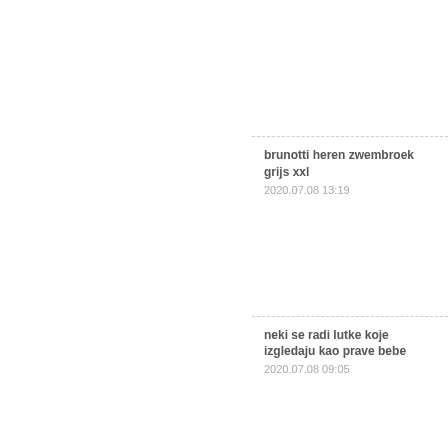brunotti heren zwembroek grijs xxl
2020.07.08 13:19
neki se radi lutke koje izgledaju kao prave bebe
2020.07.08 09:05